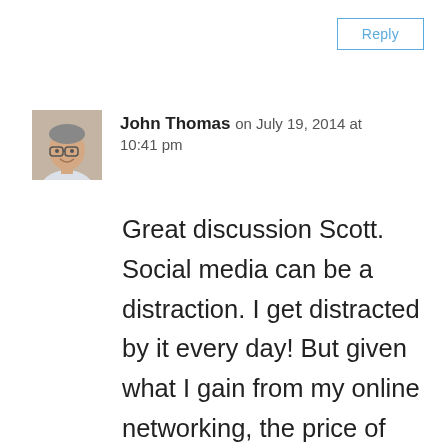Reply
[Figure (photo): Small avatar photo of John Thomas, a man with glasses]
John Thomas on July 19, 2014 at 10:41 pm
Great discussion Scott. Social media can be a distraction. I get distracted by it every day! But given what I gain from my online networking, the price of distraction is a small one to pay. And some of the distractions are remarkably educational too!